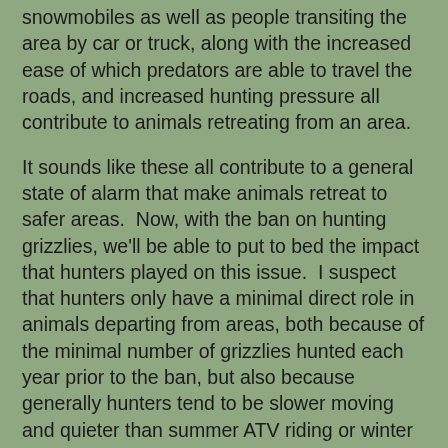snowmobiles as well as people transiting the area by car or truck, along with the increased ease of which predators are able to travel the roads, and increased hunting pressure all contribute to animals retreating from an area.
It sounds like these all contribute to a general state of alarm that make animals retreat to safer areas.  Now, with the ban on hunting grizzlies, we'll be able to put to bed the impact that hunters played on this issue.  I suspect that hunters only have a minimal direct role in animals departing from areas, both because of the minimal number of grizzlies hunted each year prior to the ban, but also because generally hunters tend to be slower moving and quieter than summer ATV riding or winter snowmobiling.  Also, as any hunter would know, the amount of predator sign, specifically wolf sign, that can be found on roads indicates that they use roads to improve their ability to travel.
Anyways, the publication can be found here: https://www.researchgate.net/publication/326446743_Resource_Roads_and_Grizzly_Bears_in_British_Columbia_and_Alberta_Canada